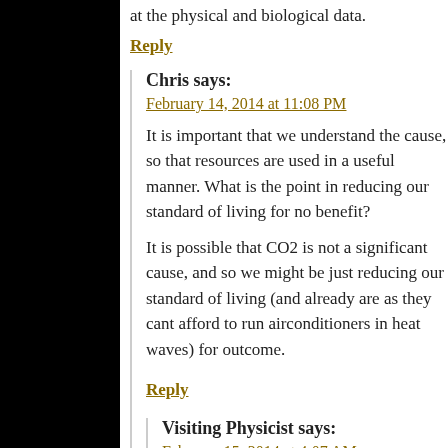at the physical and biological data.
Reply
Chris says:
February 14, 2014 at 11:08 PM
It is important that we understand the cause, so that resources are used in a useful manner. What is the point in reducing our standard of living for no benefit?
It is possible that CO2 is not a significant cause, and so we might be just reducing our standard of living (and already are as they cant afford to run airconditioners in heat waves) for no measurable outcome.
Reply
Visiting Physicist says:
February 15, 2014 at 4:07 AM
Carbon dioxide is not a cause of any significant...